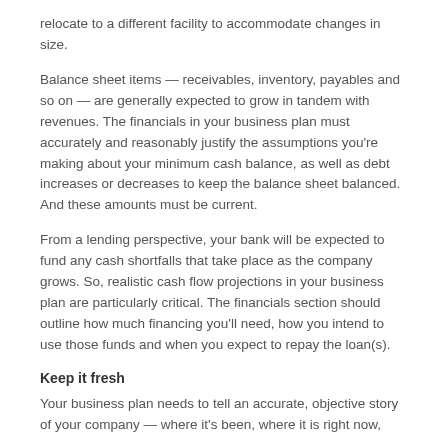relocate to a different facility to accommodate changes in size.
Balance sheet items — receivables, inventory, payables and so on — are generally expected to grow in tandem with revenues. The financials in your business plan must accurately and reasonably justify the assumptions you're making about your minimum cash balance, as well as debt increases or decreases to keep the balance sheet balanced. And these amounts must be current.
From a lending perspective, your bank will be expected to fund any cash shortfalls that take place as the company grows. So, realistic cash flow projections in your business plan are particularly critical. The financials section should outline how much financing you'll need, how you intend to use those funds and when you expect to repay the loan(s).
Keep it fresh
Your business plan needs to tell an accurate, objective story of your company — where it's been, where it is right now,